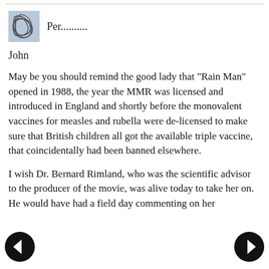[Figure (illustration): Avatar thumbnail image showing abstract line drawing on light blue/grey background]
Per..........
John
May be you should remind the good lady that "Rain Man" opened in 1988, the year the MMR was licensed and introduced in England and shortly before the monovalent vaccines for measles and rubella were de-licensed to make sure that British children all got the available triple vaccine, that coincidentally had been banned elsewhere.
I wish Dr. Bernard Rimland, who was the scientific advisor to the producer of the movie, was alive today to take her on. He would have had a field day commenting on her
[Figure (illustration): Left navigation arrow button, black circle with white left arrow]
[Figure (illustration): Right navigation arrow button, black circle with white right arrow]